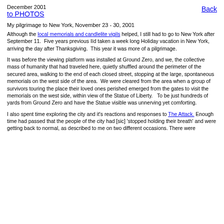December 2001
to PHOTOS   Back
My pilgrimage to New York, November 23 - 30, 2001
Although the local memorials and candlelite vigils helped, I still had to go to New York after September 11. Five years previous Iíd taken a week long Holiday vacation in New York, arriving the day after Thanksgiving. This year it was more of a pilgrimage.
It was before the viewing platform was installed at Ground Zero, and we, the collective mass of humanity that had traveled here, quietly shuffled around the perimeter of the secured area, walking to the end of each closed street, stopping at the large, spontaneous memorials on the west side of the area. We were cleared from the area when a group of survivors touring the place their loved ones perished emerged from the gates to visit the memorials on the west side, within view of the Statue of Liberty. To be just hundreds of yards from Ground Zero and have the Statue visible was unnerving yet comforting.
I also spent time exploring the city and it's reactions and responses to The Attack. Enough time had passed that the people of the city had [sic] 'stopped holding their breath' and were getting back to normal, as described to me on two different occasions. There were